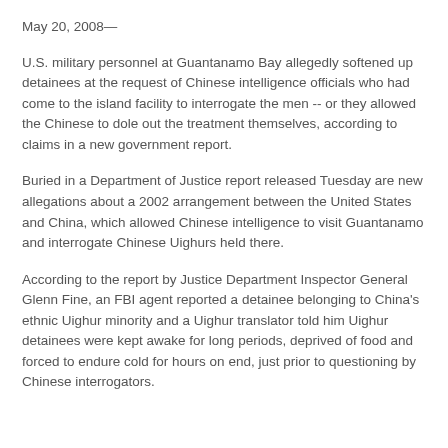May 20, 2008—
U.S. military personnel at Guantanamo Bay allegedly softened up detainees at the request of Chinese intelligence officials who had come to the island facility to interrogate the men -- or they allowed the Chinese to dole out the treatment themselves, according to claims in a new government report.
Buried in a Department of Justice report released Tuesday are new allegations about a 2002 arrangement between the United States and China, which allowed Chinese intelligence to visit Guantanamo and interrogate Chinese Uighurs held there.
According to the report by Justice Department Inspector General Glenn Fine, an FBI agent reported a detainee belonging to China's ethnic Uighur minority and a Uighur translator told him Uighur detainees were kept awake for long periods, deprived of food and forced to endure cold for hours on end, just prior to questioning by Chinese interrogators.